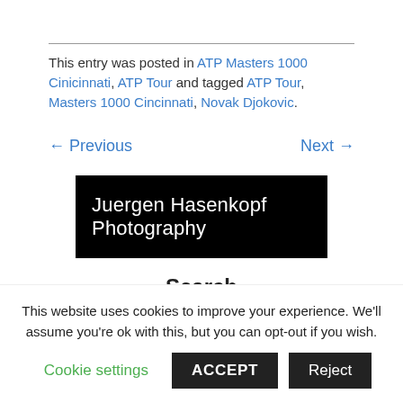This entry was posted in ATP Masters 1000 Cinicinnati, ATP Tour and tagged ATP Tour, Masters 1000 Cincinnati, Novak Djokovic.
← Previous    Next →
[Figure (other): Black banner with white text reading 'Juergen Hasenkopf Photography']
Search
This website uses cookies to improve your experience. We'll assume you're ok with this, but you can opt-out if you wish.
Cookie settings  ACCEPT  Reject